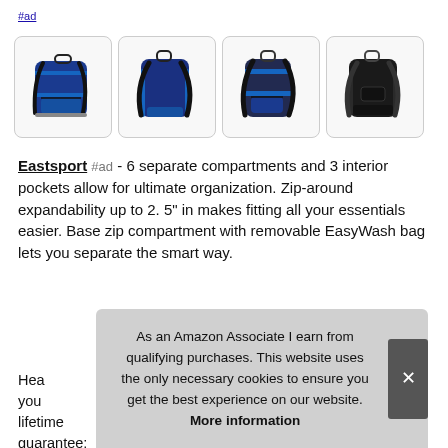#ad
[Figure (photo): Four product photos of Eastsport backpacks shown from different angles. First: blue/black front view. Second: blue/black rear view. Third: blue/black side view. Fourth: all-black rear view.]
Eastsport #ad - 6 separate compartments and 3 interior pockets allow for ultimate organization. Zip-around expandability up to 2. 5" in makes fitting all your essentials easier. Base zip compartment with removable EasyWash bag lets you separate the smart way.
Hea... you... lifetime guarantee; Dimensions: 18" by 14" by 1050".
As an Amazon Associate I earn from qualifying purchases. This website uses the only necessary cookies to ensure you get the best experience on our website. More information